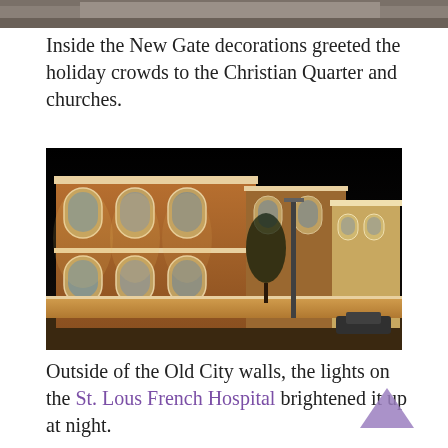[Figure (photo): Partial photo at top of page, cropped, showing a scene related to holiday decorations near a gate.]
Inside the New Gate decorations greeted the holiday crowds to the Christian Quarter and churches.
[Figure (photo): Night photograph of the St. Louis French Hospital building outside the Old City walls, illuminated with bright lights against a dark sky.]
Outside of the Old City walls, the lights on the St. Lous French Hospital brightened it up at night.